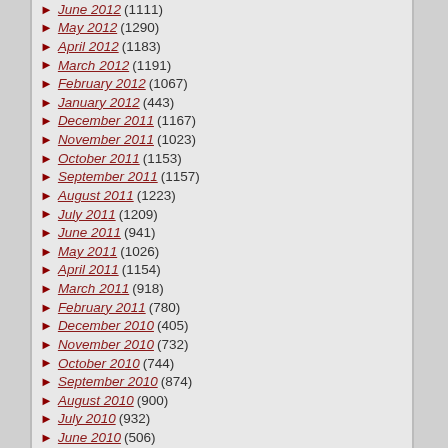June 2012 (1111)
May 2012 (1290)
April 2012 (1183)
March 2012 (1191)
February 2012 (1067)
January 2012 (443)
December 2011 (1167)
November 2011 (1023)
October 2011 (1153)
September 2011 (1157)
August 2011 (1223)
July 2011 (1209)
June 2011 (941)
May 2011 (1026)
April 2011 (1154)
March 2011 (918)
February 2011 (780)
December 2010 (405)
November 2010 (732)
October 2010 (744)
September 2010 (874)
August 2010 (900)
July 2010 (932)
June 2010 (506)
May 2010 (764)
April 2010 (792)
March 2010 (912)
February 2010 (702)
January 2010 (486)
December 2009 (653)
November 2009 (...)